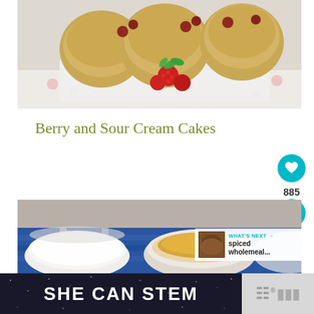[Figure (photo): Close-up photo of berry and sour cream muffins/cakes with fresh raspberries and mint leaves on a white marble board with floral fabric in background]
Berry and Sour Cream Cakes
[Figure (photo): Food photo showing white ceramic bowls, one with a golden/yellow dish, set on blue plaid cloth]
WHAT'S NEXT → spiced wholemeal...
885
[Figure (infographic): Advertisement banner reading SHE CAN STEM with a logo mark]
SHE CAN STEM